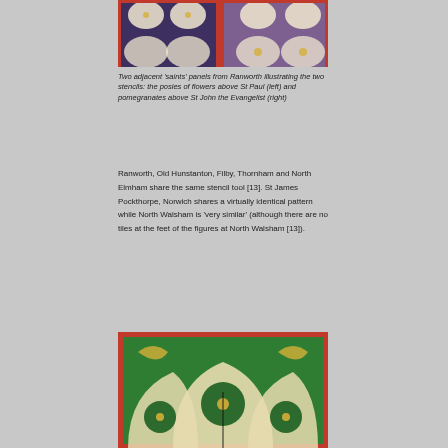[Figure (photo): Two adjacent 'saints' panels from Ranworth showing decorative Gothic tracery with painted stencil patterns — posies of flowers above St Paul (left) and pomegranates above St John the Evangelist (right). Colours include deep blue, red, gold, purple and cream.]
Two adjacent ‘saints’ panels from Ranworth illustrating the two stencils: the posies of flowers above St Paul (left) and pomegranates above St John the Evangelist (right)
Ranworth, Old Hunstanton, Filby, Thornham and North Elmham share the same stencil tool [13]. St James Pockthorpe, Norwich shares a virtually identical pattern while North Walsham is ‘very similar’ (although there are no tiles at the feet of the figures at North Walsham [13]).
[Figure (photo): Close-up photograph of a medieval painted rood screen panel showing Gothic arched tracery with cream/gold curved forms against a green background with gilded floral stencil motifs, framed in red-orange moulding.]